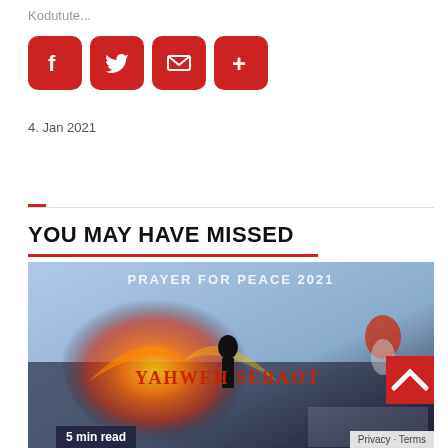Kodutute...
[Figure (illustration): Four red social sharing buttons: Facebook, Twitter, Email, and More (+)]
4. Jan 2021
YOU MAY HAVE MISSED
[Figure (photo): Fantasy/religious battle scene image with fire, wings, horse rider in red, the text 'PRAYER FOR PEACE 2021' and 'YAHWEH SEBAOT' overlaid. Badge showing '5 min read' at the bottom.]